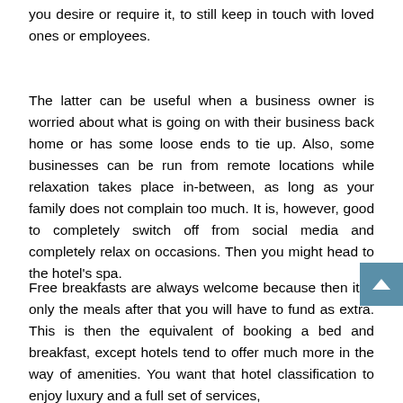you desire or require it, to still keep in touch with loved ones or employees.
The latter can be useful when a business owner is worried about what is going on with their business back home or has some loose ends to tie up. Also, some businesses can be run from remote locations while relaxation takes place in-between, as long as your family does not complain too much. It is, however, good to completely switch off from social media and completely relax on occasions. Then you might head to the hotel's spa.
Free breakfasts are always welcome because then it is only the meals after that you will have to fund as extra. This is then the equivalent of booking a bed and breakfast, except hotels tend to offer much more in the way of amenities. You want that hotel classification to enjoy luxury and a full set of services,